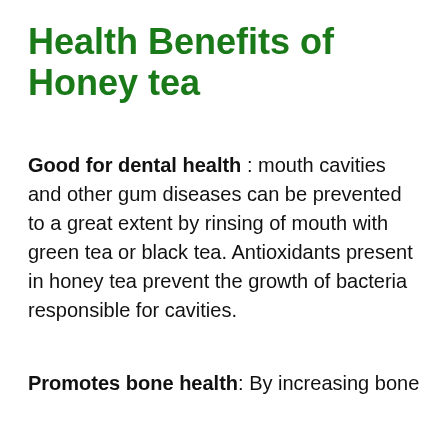Health Benefits of Honey tea
Good for dental health : mouth cavities and other gum diseases can be prevented to a great extent by rinsing of mouth with green tea or black tea. Antioxidants present in honey tea prevent the growth of bacteria responsible for cavities.
Promotes bone health: By increasing bone